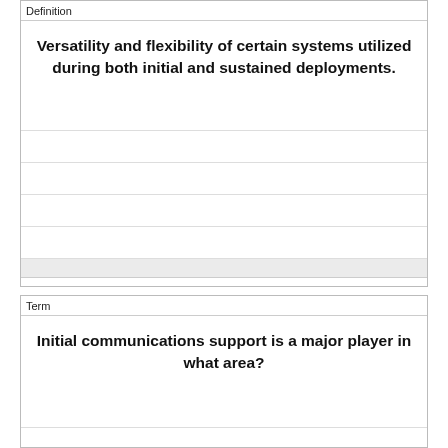Definition
Versatility and flexibility of certain systems utilized during both initial and sustained deployments.
Term
Initial communications support is a major player in what area?